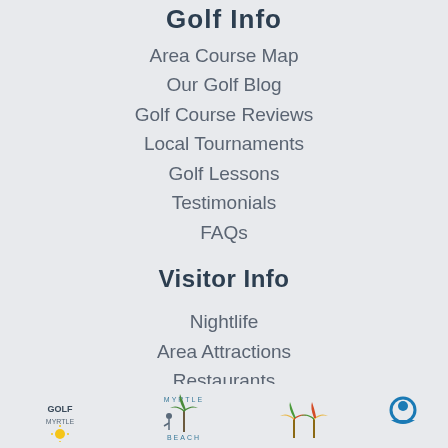Golf Info
Area Course Map
Our Golf Blog
Golf Course Reviews
Local Tournaments
Golf Lessons
Testimonials
FAQs
Visitor Info
Nightlife
Area Attractions
Restaurants
Myrtle Beach Weather
Vacation Rentals
[Figure (logo): Row of partner/sponsor logos at the bottom of the page including what appears to be golf and Myrtle Beach related brand logos]